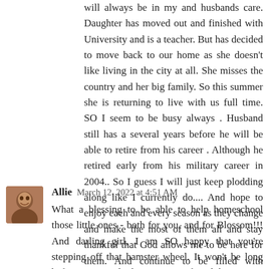will always be in my and husbands care. Daughter has moved out and finished with University and is a teacher. But has decided to move back to our home as she doesn't like living in the city at all. She misses the country and her big family. So this summer she is returning to live with us full time. SO I seem to be busy always . Husband still has a several years before he will be able to retire from his career . Although he retired early from his military career in 2004.. So I guess I will just keep plodding along like I currently do.... And hope to enjoy each and every season as they change and make the most of them all and stay thankful that God allows me to be here for them. And continue to be filled with Gratitude. Jenny I am always happy for you Dear. you deserve the moon and the stars .
Reply
Allie  March 12, 2022 at 4:51 AM
What a blessing to be able to help homeschool those little ones - both for you, and for Blossom!!! And darling girl, I am SO happy that you're stepping off that hamster wheel. It won't be long before you wonder how you ever found the